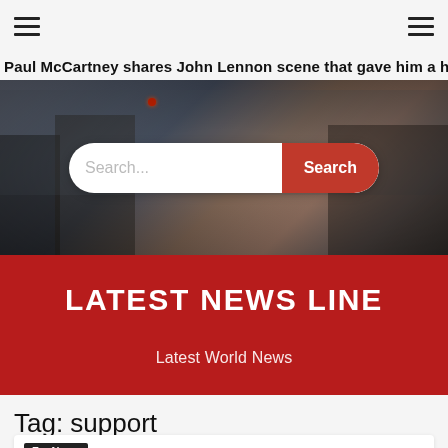Navigation bar with hamburger menus on left and right
Paul McCartney shares John Lennon scene that gave him a huge sm
[Figure (photo): Street scene photo with crowd of people, used as hero banner background, with a search bar overlay containing a text input 'Search...' and a red 'Search' button]
LATEST NEWS LINE
Latest World News
Tag: support
FoxNews
Democrat Josh Shapiro receives